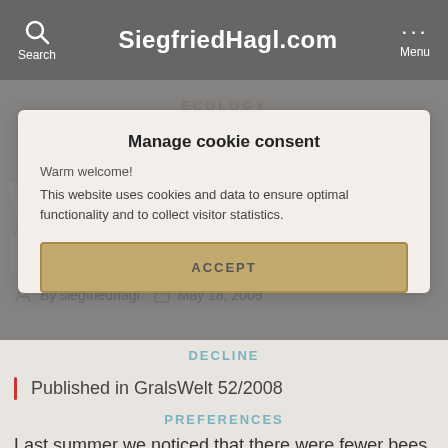Search  SiegfriedHagl.com  Menu
ECOLOGY
Where are the bees
By siegfriedhagl  May 18, 2009
Manage cookie consent
Warm welcome!
This website uses cookies and data to ensure optimal functionality and to collect visitor statistics.
ACCEPT
DECLINE
Published in GralsWelt 52/2008
PREFERENCES
Last summer we noticed that there were fewer bees in our garden than usual.